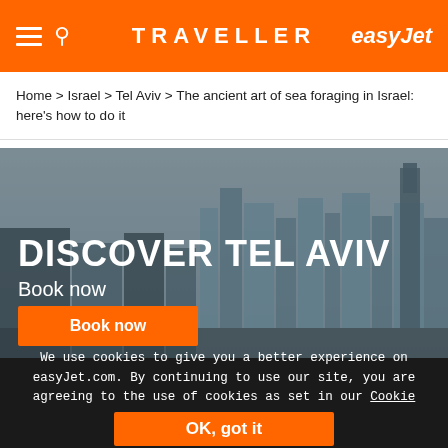TRAVELLER | easyJet
Home > Israel > Tel Aviv > The ancient art of sea foraging in Israel: here's how to do it
[Figure (illustration): Banner advertisement showing Tel Aviv city skyline in the background with text 'DISCOVER TEL AVIV', 'Book now', and an orange 'Book now' button on the left side.]
We use cookies to give you a better experience on easyJet.com. By continuing to use our site, you are agreeing to the use of cookies as set in our Cookie Policy.
OK, got it